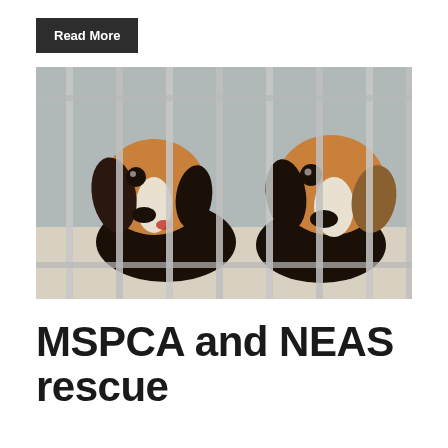Read More
[Figure (photo): Two beagle puppies looking out from behind metal cage bars in a shelter or laboratory setting. The puppies have brown, black, and white coloring. One has a red mark near its mouth.]
MSPCA and NEAS rescue